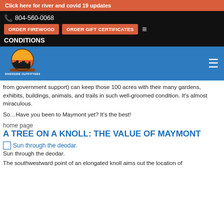Click here for river and covid 19 updates
804-560-0068  ORDER FIREWOOD  ORDER GIFT CERTIFICATES  CONDITIONS
[Figure (logo): Riverside Outfitters logo with city skyline and sun on blue background]
from government support) can keep those 100 acres with their many gardens, exhibits, buildings, animals, and trails in such well-groomed condition. It's almost miraculous.
So…Have you been to Maymont yet? It's the best!
home page
A TREE ON A KNOLL: THE VALUE OF MAYMONT
[Figure (photo): Sun through the deodar. (broken image placeholder)]
Sun through the deodar.
The southwestward point of an elongated knoll aims out the location of